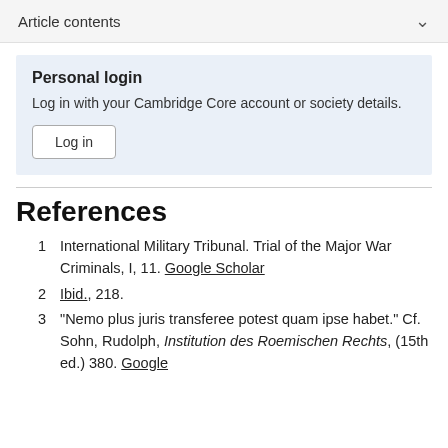Article contents
Personal login
Log in with your Cambridge Core account or society details.
Log in
References
1  International Military Tribunal. Trial of the Major War Criminals, I, 11. Google Scholar
2  Ibid., 218.
3  "Nemo plus juris transferee potest quam ipse habet." Cf. Sohn, Rudolph, Institution des Roemischen Rechts, (15th ed.) 380. Google